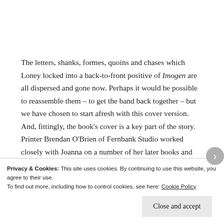The letters, shanks, formes, quoins and chases which Loney locked into a back-to-front positive of Imogen are all dispersed and gone now. Perhaps it would be possible to reassemble them – to get the band back together – but we have chosen to start afresh with this cover version. And, fittingly, the book's cover is a key part of the story. Printer Brendan O'Brien of Fernbank Studio worked closely with Joanna on a number of her later books and has designed and printed a new cover for this edition of Imogen. His process?
Privacy & Cookies: This site uses cookies. By continuing to use this website, you agree to their use.
To find out more, including how to control cookies, see here: Cookie Policy
Close and accept